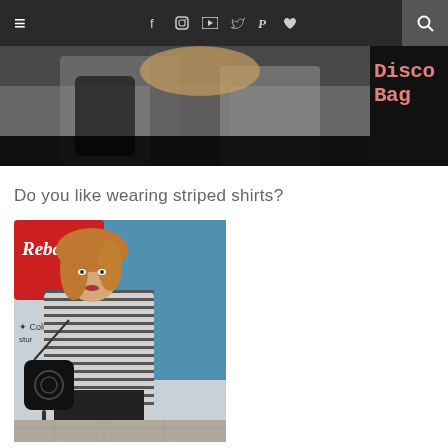≡  f  📷  ▶  🐦  P  ♥  🔍
[Figure (photo): Fashion blog banner showing a woman with blonde hair holding a bag, text 'Disco Bag' visible in salmon/pink color on dark background]
Do you like wearing striped shirts?
[Figure (photo): Young woman with curly red/blonde hair wearing a striped oversized shirt and black pants, carrying a black Gucci disco bag, standing in front of a Columbia store with Rebajas (sales) sign]